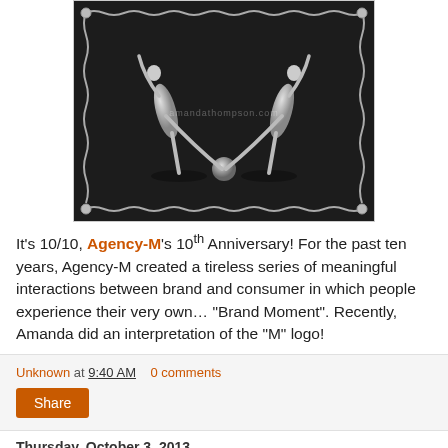[Figure (photo): Black and white artistic photo of two silver/metallic human figures forming an 'M' shape, surrounded by decorative chain border on dark background. Watermark text visible across center.]
It's 10/10, Agency-M's 10th Anniversary! For the past ten years, Agency-M created a tireless series of meaningful interactions between brand and consumer in which people experience their very own... “Brand Moment”. Recently, Amanda did an interpretation of the “M” logo!
Unknown at 9:40 AM   0 comments
Share
Thursday, October 3, 2013